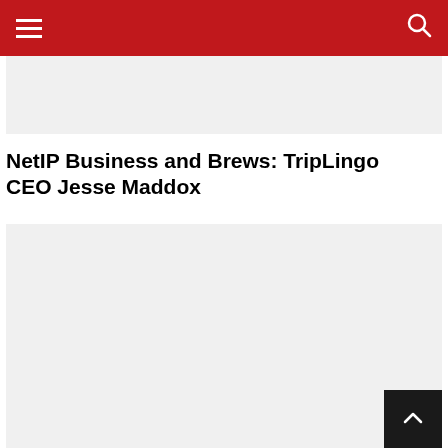Navigation bar with hamburger menu and search icon
[Figure (photo): Top image placeholder, light gray background]
NetIP Business and Brews: TripLingo CEO Jesse Maddox
[Figure (photo): Main content image placeholder, large light gray background area]